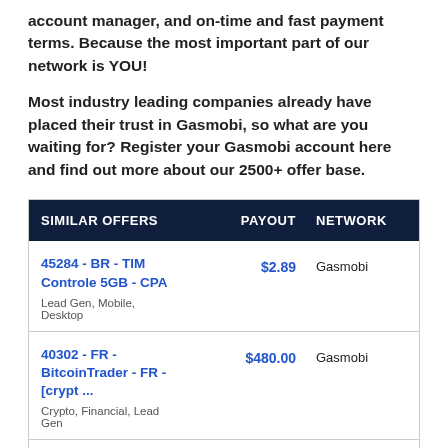account manager, and on-time and fast payment terms. Because the most important part of our network is YOU!
Most industry leading companies already have placed their trust in Gasmobi, so what are you waiting for? Register your Gasmobi account here and find out more about our 2500+ offer base.
| SIMILAR OFFERS | PAYOUT | NETWORK |
| --- | --- | --- |
| 45284 - BR - TIM Controle 5GB - CPA
Lead Gen, Mobile, Desktop | $2.89 | Gasmobi |
| 40302 - FR - BitcoinTrader - FR - [crypt ...
Crypto, Financial, Lead Gen | $480.00 | Gasmobi |
| 45640 - FR - CreditSupport - Samsung Qle ...
Free Trial, Sweepstakes, Lead | $26.95 | Gasmobi |